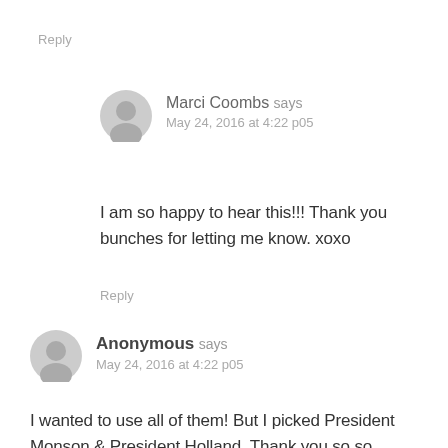Reply
Marci Coombs says
May 24, 2016 at 4:22 p05
I am so happy to hear this!!! Thank you bunches for letting me know. xoxo
Reply
Anonymous says
May 24, 2016 at 4:22 p05
I wanted to use all of them! But I picked President Monson & President Holland. Thank you so so